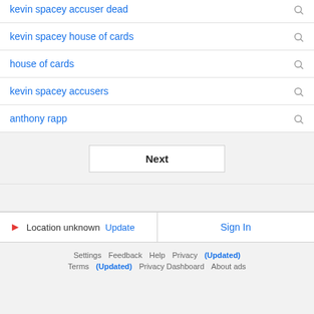kevin spacey accuser dead
kevin spacey house of cards
house of cards
kevin spacey accusers
anthony rapp
Next
Location unknown Update
Sign In
Settings  Feedback  Help  Privacy (Updated)  Terms (Updated)  Privacy Dashboard  About ads